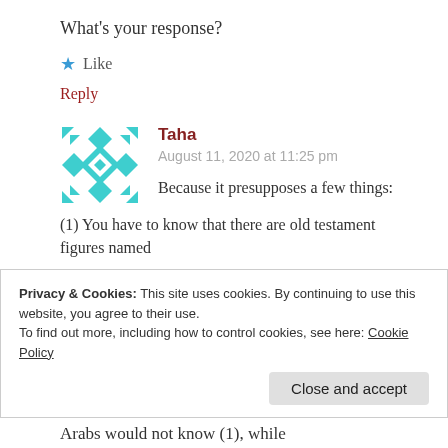What's your response?
★ Like
Reply
Taha
August 11, 2020 at 11:25 pm
Because it presupposes a few things:
(1) You have to know that there are old testament figures named
Privacy & Cookies: This site uses cookies. By continuing to use this website, you agree to their use.
To find out more, including how to control cookies, see here: Cookie Policy
Close and accept
Arabs would not know (1), while